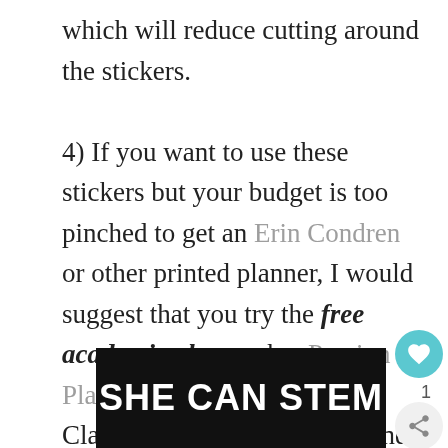which will reduce cutting around the stickers.

4) If you want to use these stickers but your budget is too pinched to get an Erin Condren or other printed planner, I would suggest that you try the free academic planner by Passion Planner. It's available in the Classic size and other sizes and will help you get started on the road to better scheduling and planning.
[Figure (screenshot): SHE CAN STEM banner advertisement at the bottom of the page, dark background with white bold text]